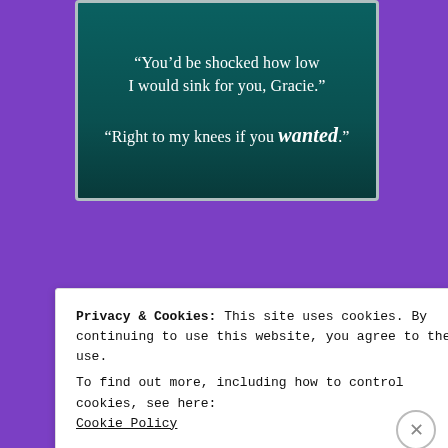[Figure (illustration): Book promotional quote image with dark teal background showing text: 'You'd be shocked how low I would sink for you, Gracie.' 'Right to my knees if you wanted.' with a hand visible in the upper right corner]
[Figure (photo): Partial book cover showing the text 'MY' and a dog or person with brown hair visible in the upper right]
Privacy & Cookies: This site uses cookies. By continuing to use this website, you agree to their use.
To find out more, including how to control cookies, see here:
Cookie Policy
Close and accept
[Figure (screenshot): DuckDuckGo advertisement banner with orange background, text 'with more privacy. All in One Free App' and DuckDuckGo logo on dark background]